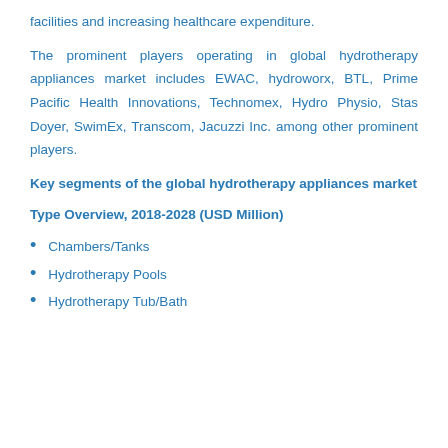facilities and increasing healthcare expenditure.
The prominent players operating in global hydrotherapy appliances market includes EWAC, hydroworx, BTL, Prime Pacific Health Innovations, Technomex, Hydro Physio, Stas Doyer, SwimEx, Transcom, Jacuzzi Inc. among other prominent players.
Key segments of the global hydrotherapy appliances market
Type Overview, 2018-2028 (USD Million)
Chambers/Tanks
Hydrotherapy Pools
Hydrotherapy Tub/Bath